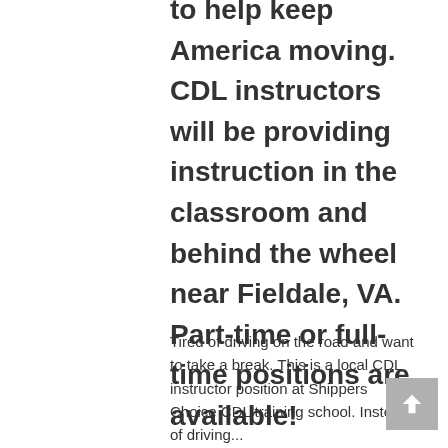to help keep America moving. CDL instructors will be providing instruction in the classroom and behind the wheel near Fieldale, VA. Part-time or full-time positions are available!
Tired of driving on the road and want to take a break. This is a local CDL instructor position at Shippers Choice CDL training school. Instead of driving...